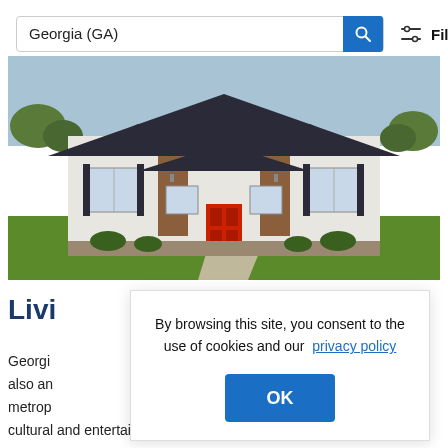Georgia (GA)
[Figure (photo): Exterior photo of a large white two-story house with dark shutters, wood accents, red front door, and a manicured green lawn]
Livi
By browsing this site, you consent to the use of cookies and our  privacy policy
OK
Georgia  is but also an  metrop  s cultural and entertainment opportunities, Between sports,